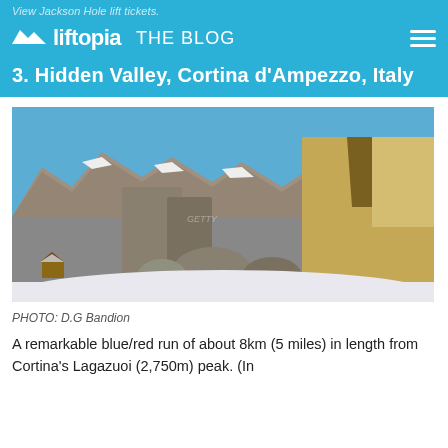View Jackson Hole lift tickets.
liftopia THE BLOG
3. Hidden Valley, Cortina d'Ampezzo, Italy
[Figure (photo): Dramatic rocky Dolomite peaks with snow and large boulders in foreground, small wooden structure visible at lower left, blue sky background. Hidden Valley, Cortina d'Ampezzo, Italy.]
PHOTO: D.G Bandion
A remarkable blue/red run of about 8km (5 miles) in length from Cortina's Lagazuoi (2,750m) peak. (In